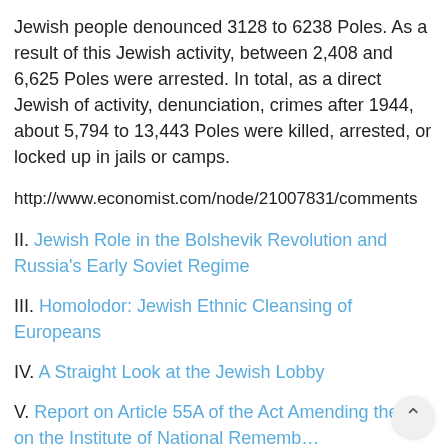Jewish people denounced 3128 to 6238 Poles. As a result of this Jewish activity, between 2,408 and 6,625 Poles were arrested. In total, as a direct Jewish of activity, denunciation, crimes after 1944, about 5,794 to 13,443 Poles were killed, arrested, or locked up in jails or camps.
http://www.economist.com/node/21007831/comments
II. Jewish Role in the Bolshevik Revolution and Russia's Early Soviet Regime
III. Homolodor: Jewish Ethnic Cleansing of Europeans
IV. A Straight Look at the Jewish Lobby
V. Report on Article 55A of the Act Amending the Act on the Institute of National Remembrance